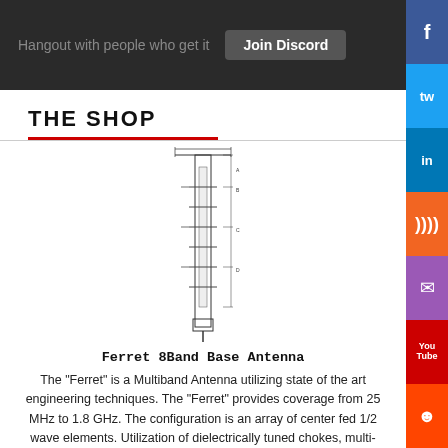[Figure (screenshot): Discord banner with dark background, text 'Hangout with people who get it' and 'Join Discord' button]
THE SHOP
[Figure (engineering-diagram): Technical schematic drawing of the Ferret 8 Band Base Antenna showing side profile with dimensional lines]
Ferret 8Band Base Antenna
The "Ferret" is a Multiband Antenna utilizing state of the art engineering techniques. The "Ferret" provides coverage from 25 MHz to 1.8 GHz. The configuration is an array of center fed 1/2 wave elements. Utilization of dielectrically tuned chokes, multi-tuned parallel resonant circuits and